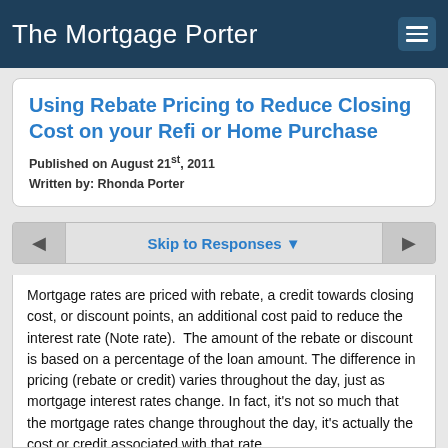The Mortgage Porter
Using Rebate Pricing to Reduce Closing Cost on your Refi or Home Purchase
Published on August 21st, 2011
Written by: Rhonda Porter
◄  Skip to Responses ▼  ►
Mortgage rates are priced with rebate, a credit towards closing cost, or discount points, an additional cost paid to reduce the interest rate (Note rate).  The amount of the rebate or discount is based on a percentage of the loan amount. The difference in pricing (rebate or credit) varies throughout the day, just as mortgage interest rates change. In fact, it's not so much that the mortgage rates change throughout the day, it's actually the cost or credit associated with that rate.
Here's an example of pricing from earlier this month. I've removed the interest rate column as what I'm most interested in illustrating to you is how rebate or discount pricing works. I'm